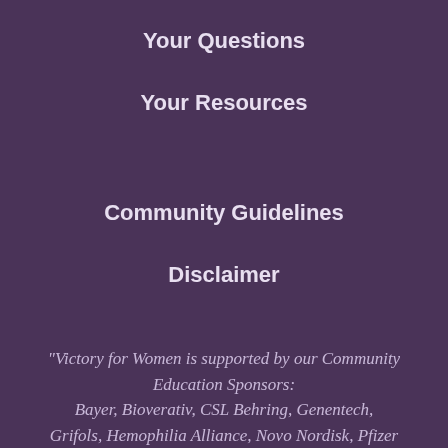Your Questions
Your Resources
Community Guidelines
Disclaimer
"Victory for Women is supported by our Community Education Sponsors:
Bayer, Bioverativ, CSL Behring, Genentech, Grifols, Hemophilia Alliance, Novo Nordisk, Pfizer